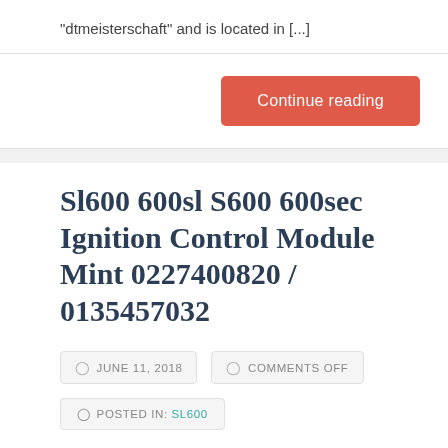“dtmeisterschaft” and is located in [...]
Continue reading
Sl600 600sl S600 600sec Ignition Control Module Mint 0227400820 / 0135457032
JUNE 11, 2018
COMMENTS OFF
POSTED IN: SL600
Universal German Auto Sales, Service & Dismantling